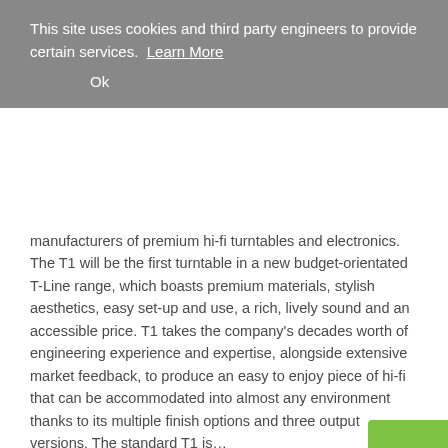This site uses cookies and third party engineers to provide certain services. Learn More
Ok
manufacturers of premium hi-fi turntables and electronics. The T1 will be the first turntable in a new budget-orientated T-Line range, which boasts premium materials, stylish aesthetics, easy set-up and use, a rich, lively sound and an accessible price. T1 takes the company's decades worth of engineering experience and expertise, alongside extensive market feedback, to produce an easy to enjoy piece of hi-fi that can be accommodated into almost any environment thanks to its multiple finish options and three output versions. The standard T1 is…
Read more